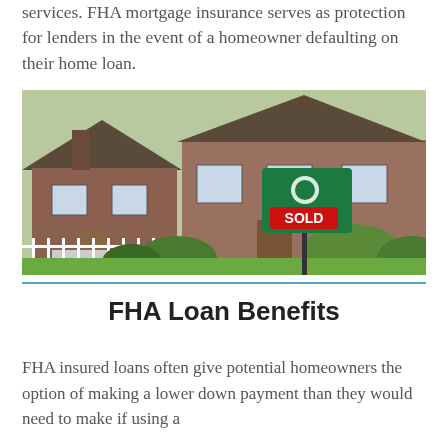services. FHA mortgage insurance serves as protection for lenders in the event of a homeowner defaulting on their home loan.
[Figure (photo): Photo of a brick house with a white porch and fence, with a green real estate sign reading SOLD in front of it on a green lawn.]
FHA Loan Benefits
FHA insured loans often give potential homeowners the option of making a lower down payment than they would need to make if using a